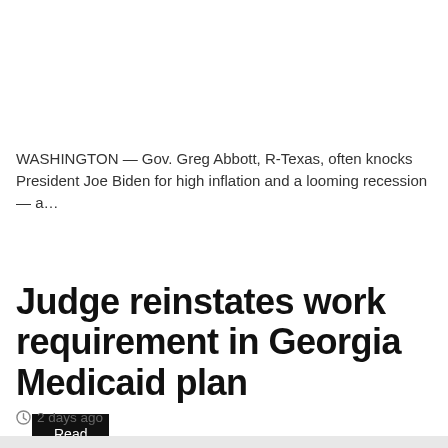WASHINGTON — Gov. Greg Abbott, R-Texas, often knocks President Joe Biden for high inflation and a looming recession — a…
Read More »
Judge reinstates work requirement in Georgia Medicaid plan
2 days ago